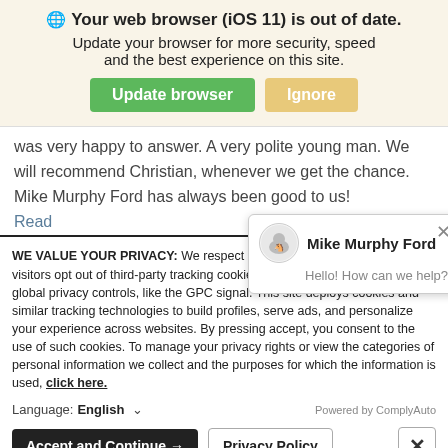🌐 Your web browser (iOS 11) is out of date. Update your browser for more security, speed and the best experience on this site.
was very happy to answer. A very polite young man. We will recommend Christian, whenever we get the chance. Mike Murphy Ford has always been good to us!
Read
[Figure (screenshot): Mike Murphy Ford chat popup with logo, name, and 'Hello! How can we help?' message, with a close X button]
WE VALUE YOUR PRIVACY: We respect consumer privacy rights by letting visitors opt out of third-party tracking cookies and honoring user-enabled global privacy controls, like the GPC signal. This site deploys cookies and similar tracking technologies to build profiles, serve ads, and personalize your experience across websites. By pressing accept, you consent to the use of such cookies. To manage your privacy rights or view the categories of personal information we collect and the purposes for which the information is used, click here.
Language: English ∨  Powered by ComplyAuto
Accept and Continue →  Privacy Policy  ×